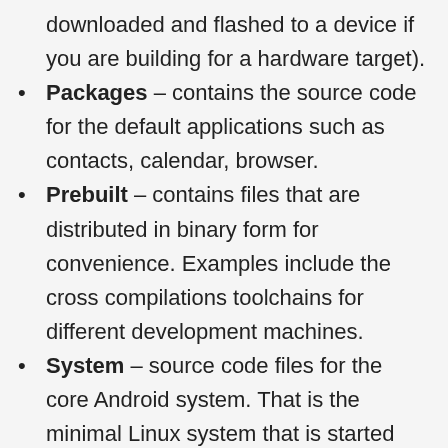downloaded and flashed to a device if you are building for a hardware target).
Packages – contains the source code for the default applications such as contacts, calendar, browser.
Prebuilt – contains files that are distributed in binary form for convenience. Examples include the cross compilations toolchains for different development machines.
System – source code files for the core Android system. That is the minimal Linux system that is started before the Dalvik VM and any java based services are enabled. This includes the source code for the init process and the default